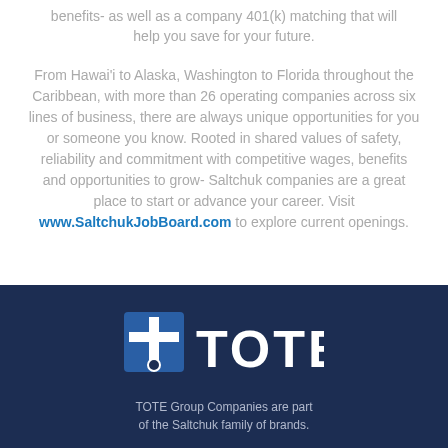benefits- as well as a company 401(k) matching that will help you save for your future.
From Hawai'i to Alaska, Washington to Florida throughout the Caribbean, with more than 26 operating companies across six lines of business, there are always unique opportunities for you or someone you know. Rooted in shared values of safety, reliability and commitment with competitive wages, benefits and opportunities to grow- Saltchuk companies are a great place to start or advance your career. Visit www.SaltchukJobBoard.com to explore current openings.
[Figure (logo): TOTE company logo — white cross/anchor icon followed by bold white text 'TOTE' on dark navy background]
TOTE Group Companies are part of the Saltchuk family of brands.